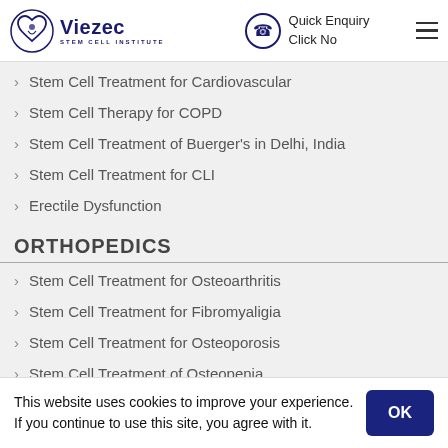Viezec Stem Cell Institute — Quick Enquiry Click No
Stem Cell Treatment for Cardiovascular
Stem Cell Therapy for COPD
Stem Cell Treatment of Buerger's in Delhi, India
Stem Cell Treatment for CLI
Erectile Dysfunction
ORTHOPEDICS
Stem Cell Treatment for Osteoarthritis
Stem Cell Treatment for Fibromyaligia
Stem Cell Treatment for Osteoporosis
Stem Cell Treatment of Osteopenia
Stem Cell Treatment Osteomalacia in India
This website uses cookies to improve your experience. If you continue to use this site, you agree with it.